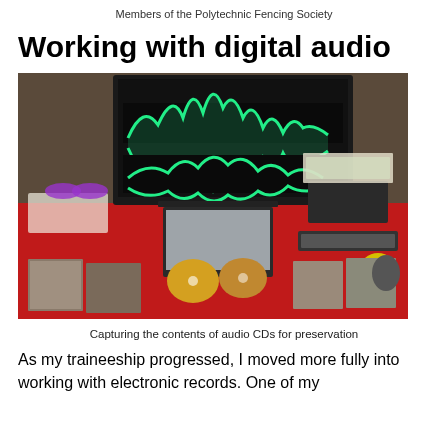Members of the Polytechnic Fencing Society
Working with digital audio
[Figure (photo): A red desk with a large monitor displaying audio waveforms in green, a laptop, and numerous audio CDs and CD cases spread out on the desk surface. Audio editing software is visible on the monitor screen.]
Capturing the contents of audio CDs for preservation
As my traineeship progressed, I moved more fully into working with electronic records. One of my